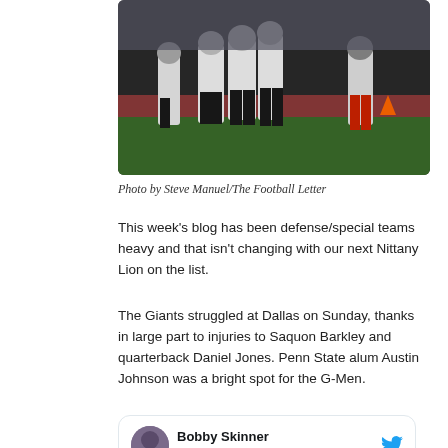[Figure (photo): Football players in action on the field, players in white uniforms lined up at the line of scrimmage]
Photo by Steve Manuel/The Football Letter
This week's blog has been defense/special teams heavy and that isn't changing with our next Nittany Lion on the list.
The Giants struggled at Dallas on Sunday, thanks in large part to injuries to Saquon Barkley and quarterback Daniel Jones. Penn State alum Austin Johnson was a bright spot for the G-Men.
[Figure (screenshot): Tweet card from Bobby Skinner (@BobbySkinner_) with Follow button and Twitter bird icon]